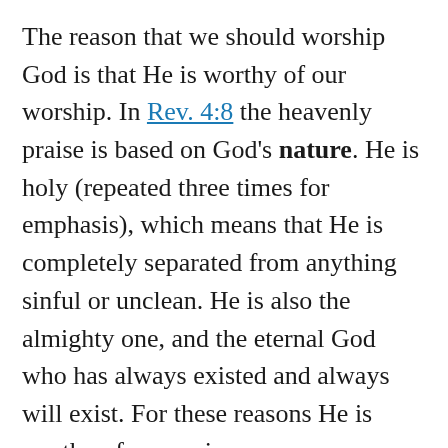The reason that we should worship God is that He is worthy of our worship. In Rev. 4:8 the heavenly praise is based on God's nature. He is holy (repeated three times for emphasis), which means that He is completely separated from anything sinful or unclean. He is also the almighty one, and the eternal God who has always existed and always will exist. For these reasons He is worthy of our praise.
God is also worshiped on the basis of what He has done. Two great deeds of God are mentioned in this heavenly scene. First in Rev.